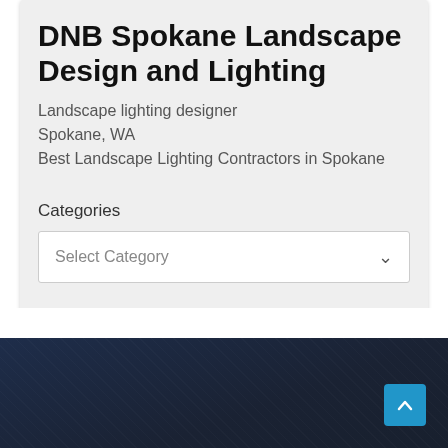DNB Spokane Landscape Design and Lighting
Landscape lighting designer
Spokane, WA
Best Landscape Lighting Contractors in Spokane
Categories
Select Category
[Figure (screenshot): Dark navy blue footer area with subtle texture, containing a blue back-to-top arrow button in the bottom right corner]